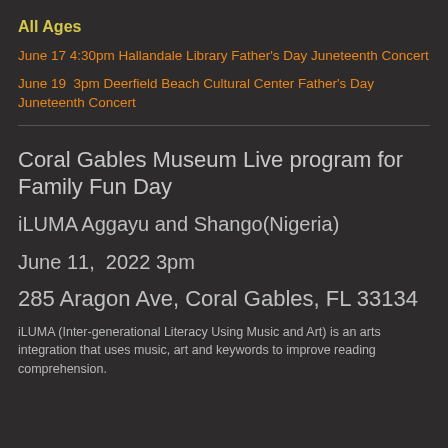All Ages
June 17 4:30pm Hallandale Library Father's Day Juneteenth Concert
June 19  3pm Deerfield Beach Cultural Center Father's Day Juneteenth Concert
Coral Gables Museum Live program for Family Fun Day
iLUMA Aggayu and Shango(Nigeria)
June 11,  2022 3pm
285 Aragon Ave, Coral Gables, FL 33134
iLUMA (Inter-generational Literacy Using Music and Art) is an arts integration that uses music, art and keywords to improve reading comprehension.